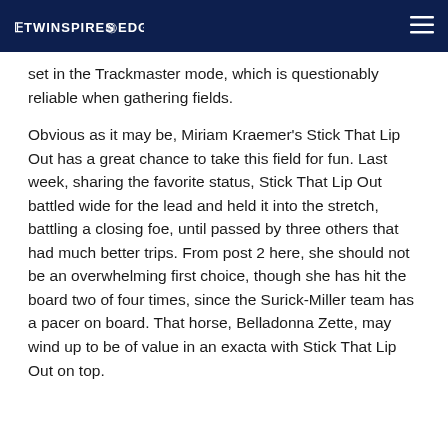THE TWINSPIRES @ EDGE
set in the Trackmaster mode, which is questionably reliable when gathering fields.
Obvious as it may be, Miriam Kraemer’s Stick That Lip Out has a great chance to take this field for fun. Last week, sharing the favorite status, Stick That Lip Out battled wide for the lead and held it into the stretch, battling a closing foe, until passed by three others that had much better trips. From post 2 here, she should not be an overwhelming first choice, though she has hit the board two of four times, since the Surick-Miller team has a pacer on board. That horse, Belladonna Zette, may wind up to be of value in an exacta with Stick That Lip Out on top.